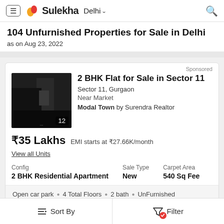[Figure (logo): Sulekha logo with flame icon and city selector showing Delhi]
104 Unfurnished Properties for Sale in Delhi
as on Aug 23, 2022
Sponsored
2 BHK Flat for Sale in Sector 11
Sector 11, Gurgaon
Near Market
Modal Town by Surendra Realtor
₹35 Lakhs  EMI starts at ₹27.66K/month
View all Units
| Config | Sale Type | Carpet Area |
| --- | --- | --- |
| 2 BHK Residential Apartment | New | 540 Sq Fee |
Open car park  •  4 Total Floors  •  2 bath  •  UnFurnished
Sort By
Filter